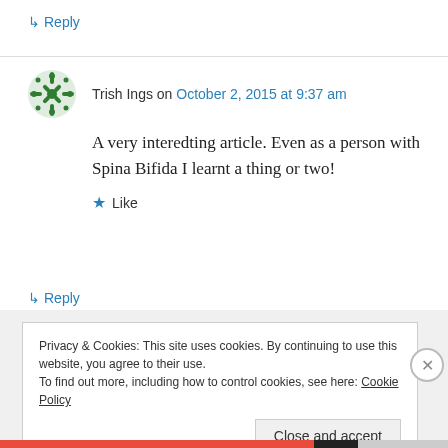↳ Reply
Trish Ings on October 2, 2015 at 9:37 am
A very interedting article. Even as a person with Spina Bifida I learnt a thing or two!
★ Like
↳ Reply
Privacy & Cookies: This site uses cookies. By continuing to use this website, you agree to their use.
To find out more, including how to control cookies, see here: Cookie Policy
Close and accept